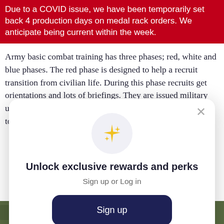Due to a COVID issue, we have been temporarily set back 4 production days on medal rack orders. We anticipate being current within the week.
Army basic combat training has three phases; red, white and blue phases. The red phase is designed to help a recruit transition from civilian life. During this phase recruits get orientations and lots of briefings. They are issued military uniforms and are briefed on expectations. They are required to learn the Soldier's Creed and
[Figure (screenshot): Modal popup with sparkle icon, title 'Unlock exclusive rewards and perks', subtitle 'Sign up or Log in', a dark navy 'Sign up' button, and footer text 'Already have an account? Sign in'. Close (×) button in top right.]
[Figure (photo): Partial outdoor/military themed photo visible at bottom of page.]